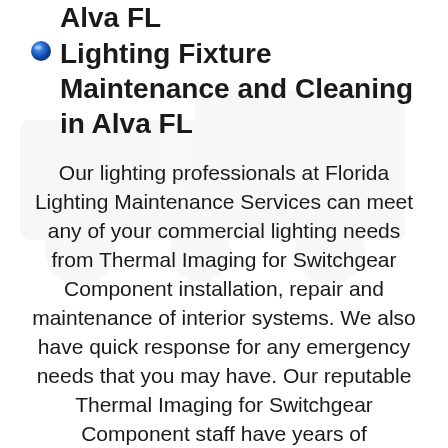Lighting Fixture Maintenance and Cleaning in Alva FL
Our lighting professionals at Florida Lighting Maintenance Services can meet any of your commercial lighting needs from Thermal Imaging for Switchgear Component installation, repair and maintenance of interior systems. We also have quick response for any emergency needs that you may have. Our reputable Thermal Imaging for Switchgear Component staff have years of experience and all the proper equipment to provide you